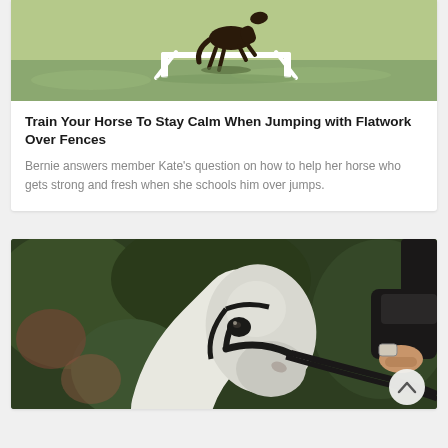[Figure (photo): A dark horse trotting over a white jump fence on a green grassy field]
Train Your Horse To Stay Calm When Jumping with Flatwork Over Fences
Bernie answers member Kate's question on how to help her horse who gets strong and fresh when she schools him over jumps.
[Figure (photo): Close-up of a white horse wearing a black bridle and being ridden by a person in black jacket with a watch, with dark green foliage in the background]